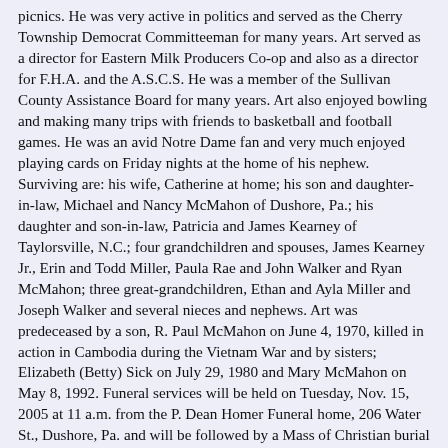picnics.  He was very active in politics and served as the Cherry Township Democrat Committeeman for many years.  Art served as a director for Eastern Milk Producers Co-op and also as a director for F.H.A. and the A.S.C.S.  He was a member of the Sullivan County Assistance Board for many years.  Art also enjoyed bowling and making many trips with friends to basketball and football games.  He was an avid Notre Dame fan and very much enjoyed playing cards on Friday nights at the home of his nephew.  Surviving are: his wife, Catherine at home; his son and daughter-in-law, Michael and Nancy McMahon of Dushore, Pa.; his daughter and son-in-law, Patricia and James Kearney of Taylorsville, N.C.; four grandchildren and spouses, James Kearney Jr., Erin and Todd Miller, Paula Rae and John Walker and Ryan McMahon; three great-grandchildren, Ethan and Ayla Miller and Joseph Walker and several nieces and nephews.  Art was predeceased by a son, R. Paul McMahon on June 4, 1970, killed in action in Cambodia during the Vietnam War and by sisters; Elizabeth (Betty) Sick on July 29, 1980 and Mary McMahon on May 8, 1992.  Funeral services will be held on Tuesday, Nov. 15, 2005 at 11 a.m. from the P. Dean Homer Funeral home, 206 Water St., Dushore, Pa. and will be followed by a Mass of Christian burial at 11:30 a.m. at St. Basil's Church, Dushore, Pa. with the Rev. Michael B. Harris, former pastor presiding.  Interment will be in the adjoining parish cemetery.  Friends may call on Monday, Nov. 14 at the funeral home from 2 p.m. to 4 p.m. and from 7 p.m.